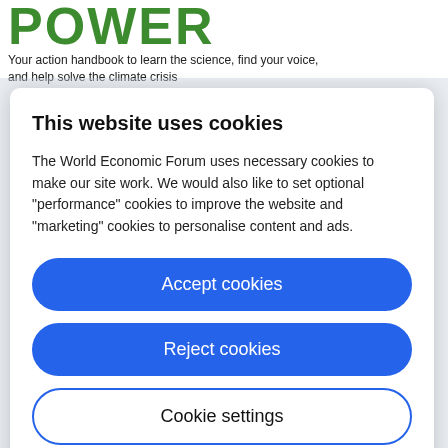POWER
Your action handbook to learn the science, find your voice, and help solve the climate crisis
This website uses cookies
The World Economic Forum uses necessary cookies to make our site work. We would also like to set optional “performance” cookies to improve the website and “marketing” cookies to personalise content and ads.
Accept cookies
Reject cookies
Cookie settings